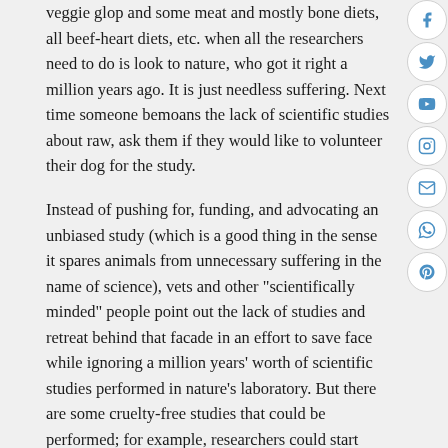veggie glop and some meat and mostly bone diets, all beef-heart diets, etc. when all the researchers need to do is look to nature, who got it right a million years ago. It is just needless suffering. Next time someone bemoans the lack of scientific studies about raw, ask them if they would like to volunteer their dog for the study.
Instead of pushing for, funding, and advocating an unbiased study (which is a good thing in the sense it spares animals from unnecessary suffering in the name of science), vets and other "scientifically minded" people point out the lack of studies and retreat behind that facade in an effort to save face while ignoring a million years' worth of scientific studies performed in nature's laboratory. But there are some cruelty-free studies that could be performed; for example, researchers could start looking at the incidence of periodontal disease in raw-fed and commercially-fed pets. However, even something this simple-sounding can be a difficult thing to do correctly, as there are many variables that must either be minimized/weaned out of